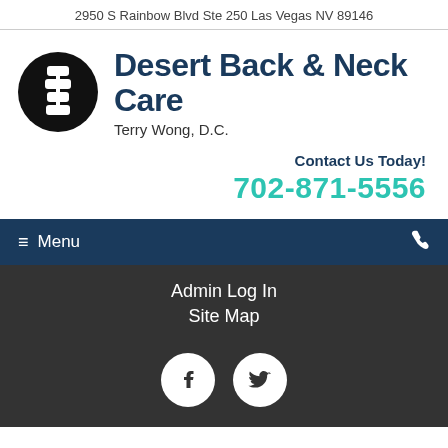2950 S Rainbow Blvd Ste 250 Las Vegas NV 89146
[Figure (logo): Black circle with white spine/vertebrae illustration logo]
Desert Back & Neck Care
Terry Wong, D.C.
Contact Us Today!
702-871-5556
≡ Menu
Admin Log In
Site Map
[Figure (illustration): Facebook and Twitter social media icons as white symbols in white circles on dark background]